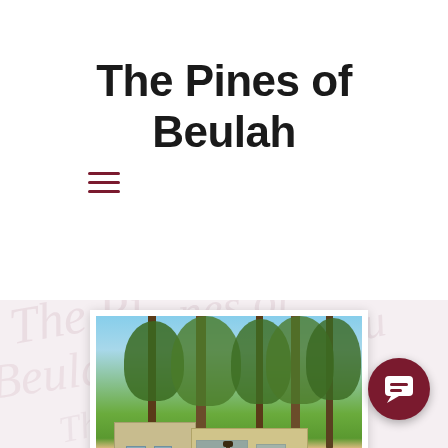The Pines of Beulah
[Figure (photo): Exterior photograph of The Pines of Beulah lodge/cabin buildings surrounded by tall pine trees, with green lawn in foreground. Yellow/tan colored buildings visible among the trees.]